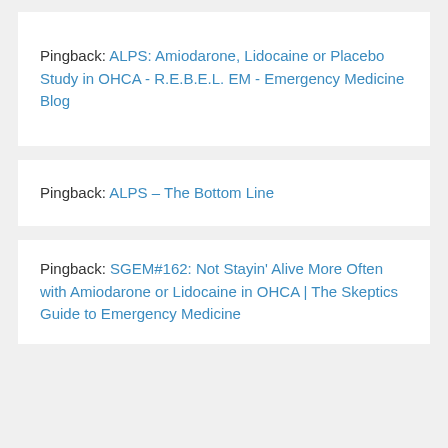Pingback: ALPS: Amiodarone, Lidocaine or Placebo Study in OHCA - R.E.B.E.L. EM - Emergency Medicine Blog
Pingback: ALPS – The Bottom Line
Pingback: SGEM#162: Not Stayin' Alive More Often with Amiodarone or Lidocaine in OHCA | The Skeptics Guide to Emergency Medicine